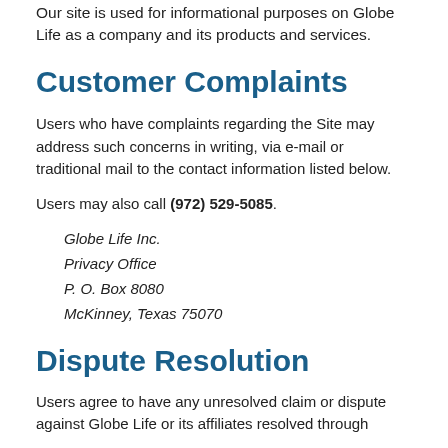Our site is used for informational purposes on Globe Life as a company and its products and services.
Customer Complaints
Users who have complaints regarding the Site may address such concerns in writing, via e-mail or traditional mail to the contact information listed below.
Users may also call (972) 529-5085.
Globe Life Inc.
Privacy Office
P. O. Box 8080
McKinney, Texas 75070
Dispute Resolution
Users agree to have any unresolved claim or dispute against Globe Life or its affiliates resolved through